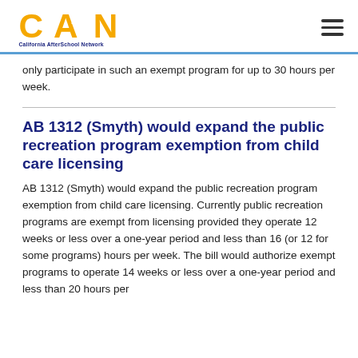California AfterSchool Network
only participate in such an exempt program for up to 30 hours per week.
AB 1312 (Smyth) would expand the public recreation program exemption from child care licensing
AB 1312 (Smyth) would expand the public recreation program exemption from child care licensing. Currently public recreation programs are exempt from licensing provided they operate 12 weeks or less over a one-year period and less than 16 (or 12 for some programs) hours per week. The bill would authorize exempt programs to operate 14 weeks or less over a one-year period and less than 20 hours per